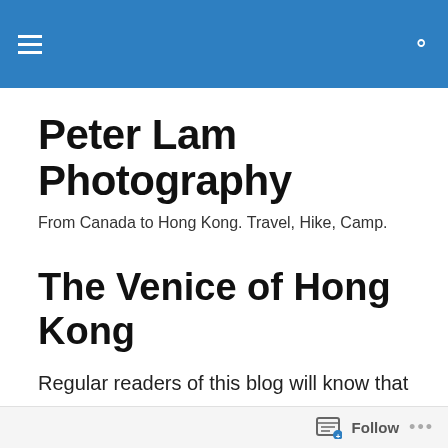Peter Lam Photography — navigation bar
Peter Lam Photography
From Canada to Hong Kong. Travel, Hike, Camp.
The Venice of Hong Kong
Regular readers of this blog will know that I have a thing for old towns and villages. There is just something magically charming about these communities, where you can catch a glimpse of traditional life long forgotten in the big city – especially in Hong Kong where rapid urbanization can change both landscape and livelihood in
Follow